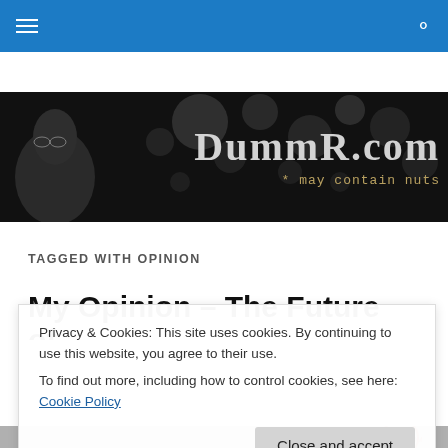Navigation bar with hamburger menu and search icon
[Figure (illustration): DummR.com website header banner — dark background with bokeh lights, person on left side, large stylized text 'DummR.com' with subtitle '* may contain nuts']
TAGGED WITH OPINION
My Opinion – The Future of
Privacy & Cookies: This site uses cookies. By continuing to use this website, you agree to their use.
To find out more, including how to control cookies, see here: Cookie Policy
[Close and accept button]